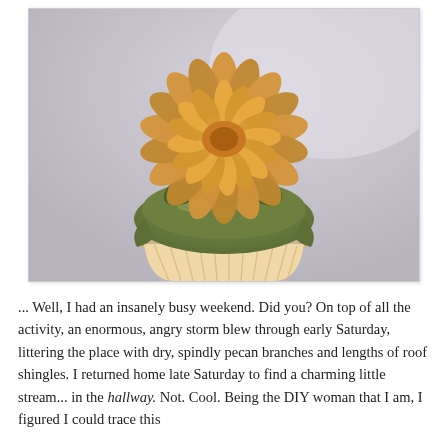[Figure (photo): A close-up photograph of a cupcake with green frosting and a decorative yellow-orange flower (chrysanthemum-like) on top, with green leaf decorations. The cupcake is in a white ridged paper liner. The background is soft/blurred light lavender-gray.]
... Well, I had an insanely busy weekend. Did you? On top of all the activity, an enormous, angry storm blew through early Saturday, littering the place with dry, spindly pecan branches and lengths of roof shingles. I returned home late Saturday to find a charming little stream... in the hallway. Not. Cool. Being the DIY woman that I am, I figured I could trace this